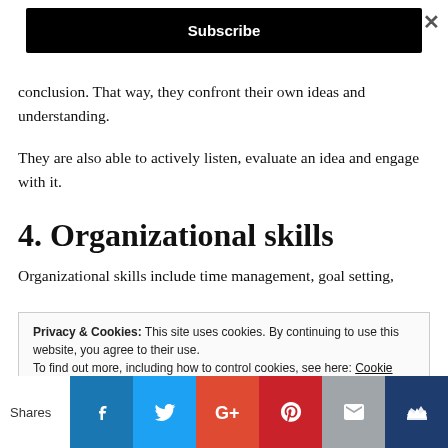[Figure (screenshot): Black Subscribe button bar at top]
conclusion. That way, they confront their own ideas and understanding.
They are also able to actively listen, evaluate an idea and engage with it.
4. Organizational skills
Organizational skills include time management, goal setting,
Privacy & Cookies: This site uses cookies. By continuing to use this website, you agree to their use.
To find out more, including how to control cookies, see here: Cookie Policy
[Figure (screenshot): Social share bar with Facebook, Twitter, Google+, Pinterest, Email, and Crown icons. 'Shares' label on left.]